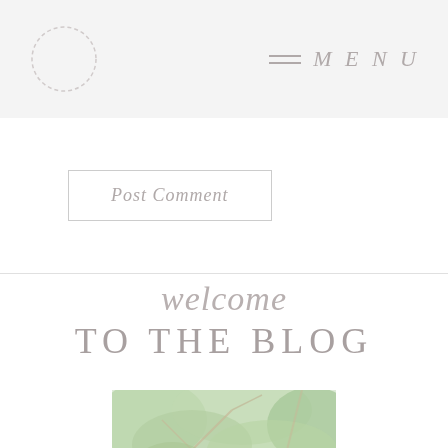MENU
Post Comment
welcome TO THE BLOG
[Figure (photo): Photo of trees with green foliage and branches, outdoor nature scene, partially cropped at bottom of page]